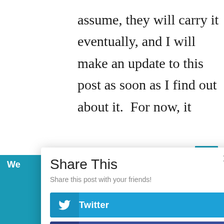assume, they will carry it eventually, and I will make an update to this post as soon as I find out about it.  For now, it
Share This
Share this post with your friends!
Twitter
Facebook
LinkedIn
Pinterest